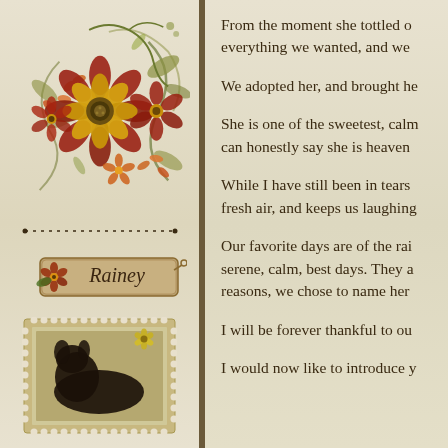[Figure (illustration): Decorative floral arrangement with autumn-colored flowers, leaves, and swirling vine accents in red, orange, brown and gold tones]
[Figure (illustration): Horizontal dashed/dotted divider line]
[Figure (illustration): Name tag label with floral decoration reading 'Rainey' in script font, with small red and yellow flowers on left side]
[Figure (photo): Postage stamp style frame containing a photo of a dark-colored dog, with a small yellow flower decoration in upper right corner]
From the moment she tottled o everything we wanted, and we
We adopted her, and brought he
She is one of the sweetest, calm can honestly say she is heaven
While I have still been in tears fresh air, and keeps us laughing
Our favorite days are of the rai serene, calm, best days. They a reasons, we chose to name her
I will be forever thankful to ou
I would now like to introduce y